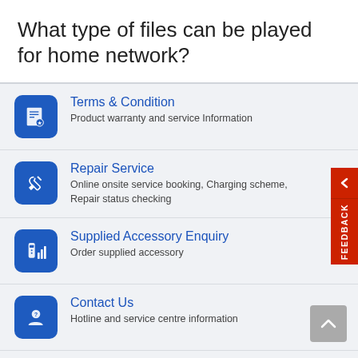What type of files can be played for home network?
Terms & Condition
Product warranty and service Information
Repair Service
Online onsite service booking, Charging scheme, Repair status checking
Supplied Accessory Enquiry
Order supplied accessory
Contact Us
Hotline and service centre information